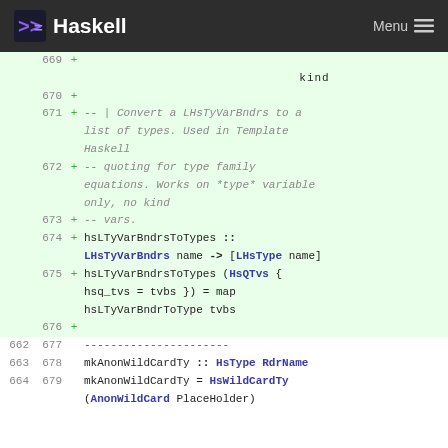Haskell  Menu
669  +

                                    kind

670  +
671  + -- | Convert a LHsTyVarBndrs to a list of types. Used in Template Haskell
672  + -- quoting for type family equations. Works on *type* variable only, no kind
673  + -- vars.
674  + hsLTyVarBndrsToTypes :: LHsTyVarBndrs name -> [LHsType name]
675  + hsLTyVarBndrsToTypes (HsQTvs { hsq_tvs = tvbs }) = map hsLTyVarBndrToType tvbs
676  +
662  677    ----------------------
663  678    mkAnonWildCardTy :: HsType RdrName
664  679    mkAnonWildCardTy = HsWildCardTy (AnonWildCard PlaceHolder)